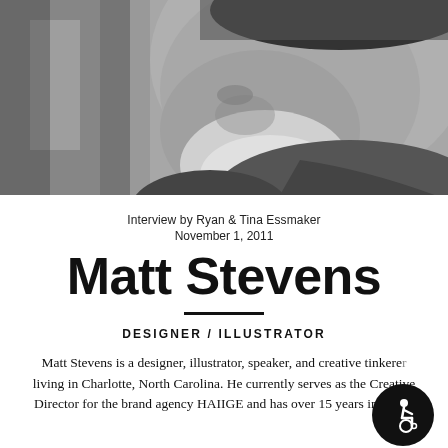[Figure (photo): Black and white close-up portrait photograph of a man with a beard, shown in profile/three-quarter view, looking to the left. The background is light/window-lit.]
Interview by Ryan & Tina Essmaker
November 1, 2011
Matt Stevens
DESIGNER / ILLUSTRATOR
Matt Stevens is a designer, illustrator, speaker, and creative tinkerer living in Charlotte, North Carolina. He currently serves as the Creative Director for the brand agency HAIIGE and has over 15 years in multi-